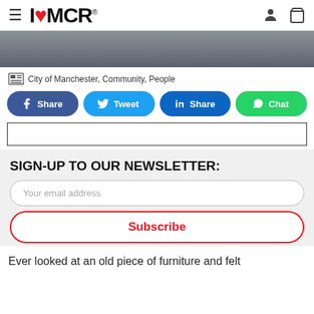I❤MCR
[Figure (photo): Partial photo of a person wearing a dark top, cropped to show torso/arms with tattoos visible]
City of Manchester, Community, People
[Figure (infographic): Social share buttons: Facebook Share, Twitter Tweet, LinkedIn Share, WhatsApp Chat]
[Figure (other): Advertisement/banner placeholder - empty rectangle]
SIGN-UP TO OUR NEWSLETTER:
Your email address
Subscribe
Ever looked at an old piece of furniture and felt